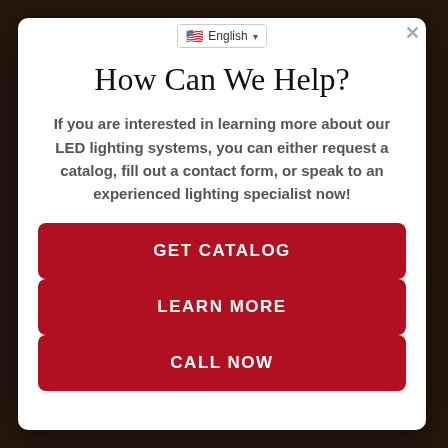🇺🇸 English ▾
How Can We Help?
If you are interested in learning more about our LED lighting systems, you can either request a catalog, fill out a contact form, or speak to an experienced lighting specialist now!
GET CATALOG
LEARN MORE
CALL NOW